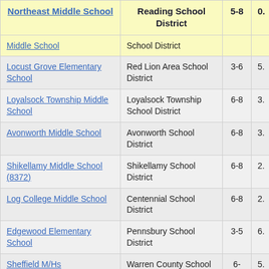| School | District | Grades | Score |
| --- | --- | --- | --- |
| Northeast Middle School | Reading School District | 5-8 | 0. |
| Middle School | School District |  |  |
| Locust Grove Elementary School | Red Lion Area School District | 3-6 | 5. |
| Loyalsock Township Middle School | Loyalsock Township School District | 6-8 | 3. |
| Avonworth Middle School | Avonworth School District | 6-8 | 3. |
| Shikellamy Middle School (8372) | Shikellamy School District | 6-8 | 2. |
| Log College Middle School | Centennial School District | 6-8 | 2. |
| Edgewood Elementary School | Pennsbury School District | 3-5 | 6. |
| Sheffield M/Hs | Warren County School District | 6-11 | 5. |